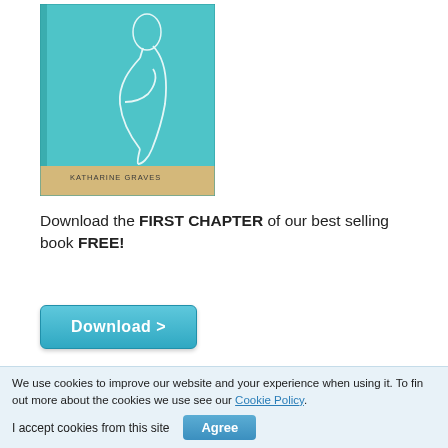[Figure (illustration): Book cover with teal/turquoise background featuring a white line drawing of a pregnant woman in profile. Author name 'KATHARINE GRAVES' printed at bottom of cover. Bottom strip is beige/gold color.]
Download the FIRST CHAPTER of our best selling book FREE!
[Figure (other): Download button with teal gradient background and white bold text reading 'Download >']
View Our Videos
We use cookies to improve our website and your experience when using it. To find out more about the cookies we use see our Cookie Policy.
I accept cookies from this site
[Figure (other): Agree button with blue gradient background and white bold text reading 'Agree']